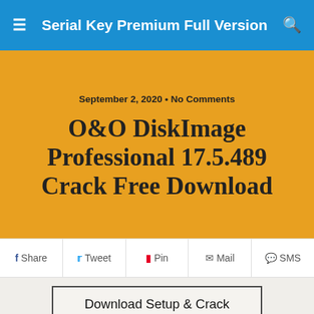Serial Key Premium Full Version
September 2, 2020 · No Comments
O&O DiskImage Professional 17.5.489 Crack Free Download
Share  Tweet  Pin  Mail  SMS
Download Setup & Crack
O&O DiskImage Professional Crack Free